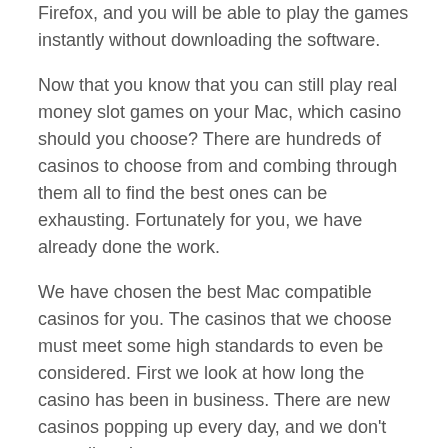Firefox, and you will be able to play the games instantly without downloading the software.
Now that you know that you can still play real money slot games on your Mac, which casino should you choose? There are hundreds of casinos to choose from and combing through them all to find the best ones can be exhausting. Fortunately for you, we have already done the work.
We have chosen the best Mac compatible casinos for you. The casinos that we choose must meet some high standards to even be considered. First we look at how long the casino has been in business. There are new casinos popping up every day, and we don't trust all casinos.
After we determine how long the casino has been in business we look at the history and make sure that players are satisfied with their cashout times and overall experience at the casino. The casino must...